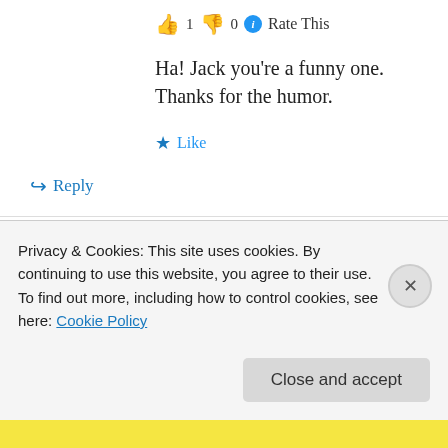👍 1 👎 0 ℹ Rate This
Ha! Jack you're a funny one. Thanks for the humor.
★ Like
↪ Reply
gloria on May 15, 2009 at 7:44 pm
👍 3 👎 1 ℹ Rate This
Abstaining from water can lead to illness, getting...
Privacy & Cookies: This site uses cookies. By continuing to use this website, you agree to their use.
To find out more, including how to control cookies, see here: Cookie Policy
Close and accept